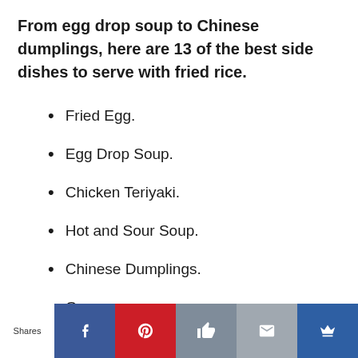From egg drop soup to Chinese dumplings, here are 13 of the best side dishes to serve with fried rice.
Fried Egg.
Egg Drop Soup.
Chicken Teriyaki.
Hot and Sour Soup.
Chinese Dumplings.
Gyoza.
Shares [Facebook] [Pinterest] [Like] [Email] [Crown]